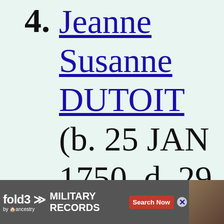4. Jeanne Susanne DUTOIT (b. 25 JAN 1750, d. 29 SEP 1750)
5. Abraham Isod...
[Figure (other): fold3 by Ancestry advertisement banner for Military Records with Search Now button]